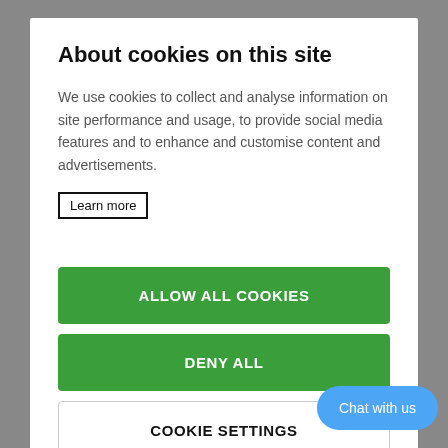About cookies on this site
We use cookies to collect and analyse information on site performance and usage, to provide social media features and to enhance and customise content and advertisements.
Learn more
ALLOW ALL COOKIES
DENY ALL
COOKIE SETTINGS
Chat with us